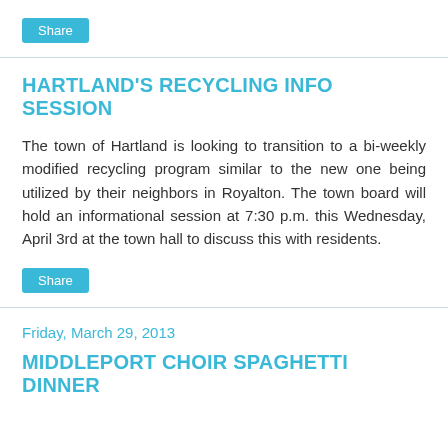[Figure (other): Share button (teal/cyan rounded rectangle)]
HARTLAND'S RECYCLING INFO SESSION
The town of Hartland is looking to transition to a bi-weekly modified recycling program similar to the new one being utilized by their neighbors in Royalton. The town board will hold an informational session at 7:30 p.m. this Wednesday, April 3rd at the town hall to discuss this with residents.
[Figure (other): Share button (teal/cyan rounded rectangle)]
Friday, March 29, 2013
MIDDLEPORT CHOIR SPAGHETTI DINNER